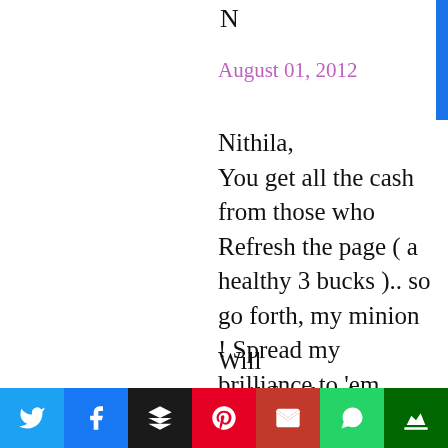N
August 01, 2012
Nithila,
You get all the cash from those who Refresh the page ( a healthy 3 bucks ).. so go forth, my minion ! Spread my brilliance to 'em Aussies !!
Will
mail/facebook u
[Figure (infographic): Social media sharing bar with Twitter (blue), Facebook (dark blue), Buffer (black), Pinterest (red), Gmail (red-dark), WhatsApp (green), and a crown icon (dark green) buttons.]